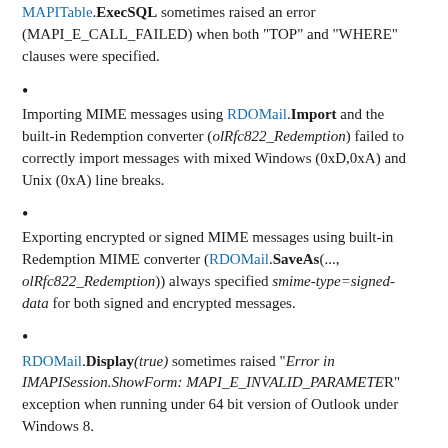MAPITable.ExecSQL sometimes raised an error (MAPI_E_CALL_FAILED) when both "TOP" and "WHERE" clauses were specified.
Importing MIME messages using RDOMail.Import and the built-in Redemption converter (olRfc822_Redemption) failed to correctly import messages with mixed Windows (0xD,0xA) and Unix (0xA) line breaks.
Exporting encrypted or signed MIME messages using built-in Redemption MIME converter (RDOMail.SaveAs(..., olRfc822_Redemption)) always specified smime-type=signed-data for both signed and encrypted messages.
RDOMail.Display(true) sometimes raised "Error in IMAPISession.ShowForm: MAPI_E_INVALID_PARAMETER" exception when running under 64 bit version of Outlook under Windows 8.
64 bit version of Redemption raised E_UNEXPECTED exception instead of MAPI_E_USER_CANCEL from RDOAddressBook.ShowAddressBook when the address book dialog was cancelled.
RDOException.OriginalDate / StartDateTime / EndDateTime properties returned invalid values for some